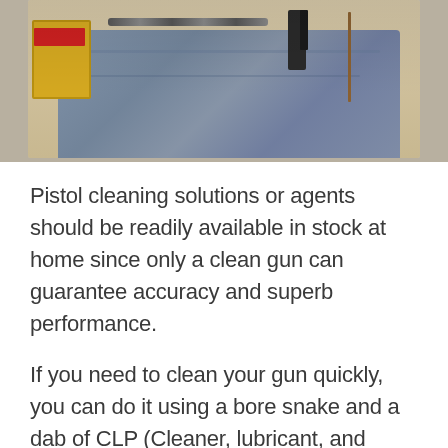[Figure (photo): Photo of pistol cleaning equipment — gun parts, cleaning rod, brush, and ammunition box laid out on a denim cloth on a wooden surface]
Pistol cleaning solutions or agents should be readily available in stock at home since only a clean gun can guarantee accuracy and superb performance.
If you need to clean your gun quickly, you can do it using a bore snake and a dab of CLP (Cleaner, lubricant, and Preservative).